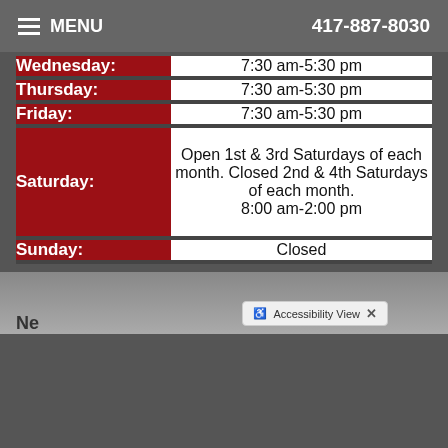MENU    417-887-8030
| Day | Hours |
| --- | --- |
| Wednesday: | 7:30 am-5:30 pm |
| Thursday: | 7:30 am-5:30 pm |
| Friday: | 7:30 am-5:30 pm |
| Saturday: | Open 1st & 3rd Saturdays of each month. Closed 2nd & 4th Saturdays of each month. 8:00 am-2:00 pm |
| Sunday: | Closed |
Accessibility View